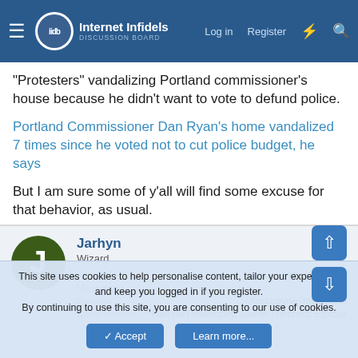Internet Infidels — Log in | Register
"Protesters" vandalizing Portland commissioner's house because he didn't want to vote to defund police.
Portland Commissioner Dan Ryan's home vandalized 7 times since he voted not to cut police budget, he says
But I am sure some of y'all will find some excuse for that behavior, as usual.
Jarhyn — Wizard
Joined: Mar 29, 2010
Messages: 11,202
Gender: Androgyne; they/them
Basic Beliefs: Natural Philosophy, Game Theoretic Ethicist
This site uses cookies to help personalise content, tailor your experience and keep you logged in if you register.
By continuing to use this site, you are consenting to our use of cookies.